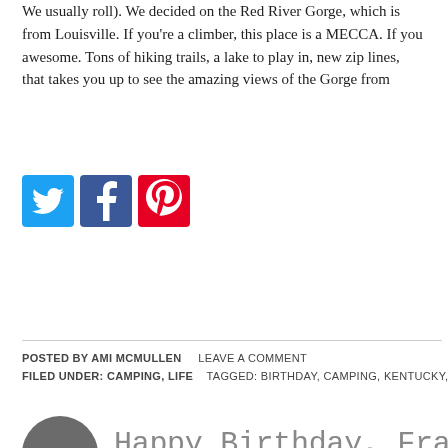We usually roll). We decided on the Red River Gorge, which is from Louisville. If you're a climber, this place is a MECCA. If you awesome. Tons of hiking trails, a lake to play in, new zip lines, that takes you up to see the amazing views of the Gorge from
[Figure (screenshot): Social sharing icons: Twitter (blue bird), Facebook (blue f), Pinterest (red P)]
POSTED BY AMI MCMULLEN    LEAVE A COMMENT
FILED UNDER: CAMPING, LIFE    TAGGED: BIRTHDAY, CAMPING, KENTUCKY, C
Happy Birthday, Fraser!
[Figure (photo): Scenic mountain landscape with dramatic cloudy sky, snow-capped peaks and sweeping clouds]